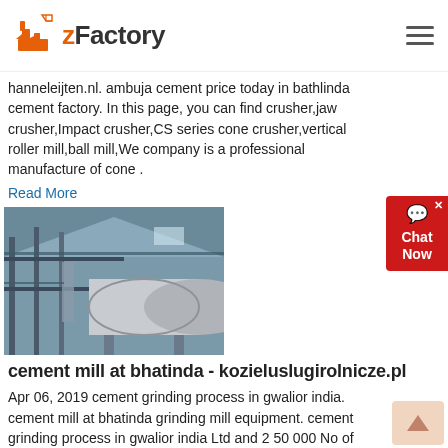zFactory
hanneleijten.nl. ambuja cement price today in bathlinda cement factory. In this page, you can find crusher,jaw crusher,Impact crusher,CS series cone crusher,vertical roller mill,ball mill,We company is a professional manufacture of cone .
Read More
[Figure (photo): Industrial cement mill machinery inside a large factory building with cylindrical drum equipment and metal framework structure.]
cement mill at bhatinda - kozieluslugirolnicze.pl
Apr 06, 2019  cement grinding process in gwalior india. cement mill at bhatinda grinding mill equipment. cement grinding process in gwalior india Ltd and 2 50 000 No of equity shares to the Gwalior Rayon Silk Mfg WVGA new cement grinding mill of 1 25 MTPA was commissioned in 2014. cement grinding process in gwalior india dom-na-kluc. Get Price
Read More